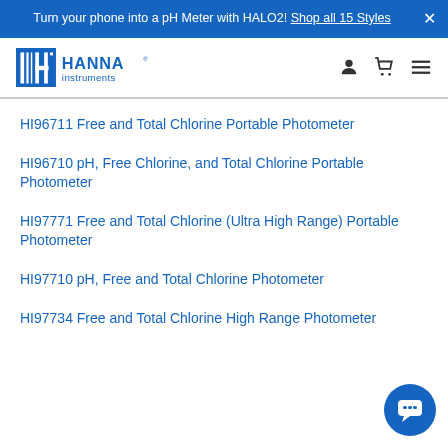Turn your phone into a pH Meter with HALO2! Shop all 15 Styles
[Figure (logo): Hanna Instruments logo — blue H icon with vertical lines and HANNA instruments wordmark]
HI96711 Free and Total Chlorine Portable Photometer
HI96710 pH, Free Chlorine, and Total Chlorine Portable Photometer
HI97771 Free and Total Chlorine (Ultra High Range) Portable Photometer
HI97710 pH, Free and Total Chlorine Photometer
HI97734 Free and Total Chlorine High Range Photometer